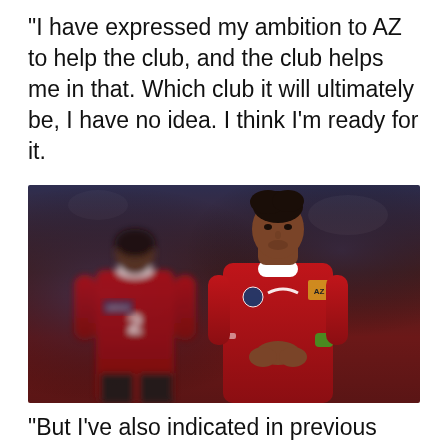“I have expressed my ambition to AZ to help the club, and the club helps me in that. Which club it will ultimately be, I have no idea. I think I’m ready for it.
[Figure (photo): Two football players in red AZ Alkmaar jerseys on a pitch. The player in the foreground is clapping his hands together, wearing a green captain's armband. A second player wearing jersey number 2 is visible to the left in the background.]
“But I’ve also indicated in previous